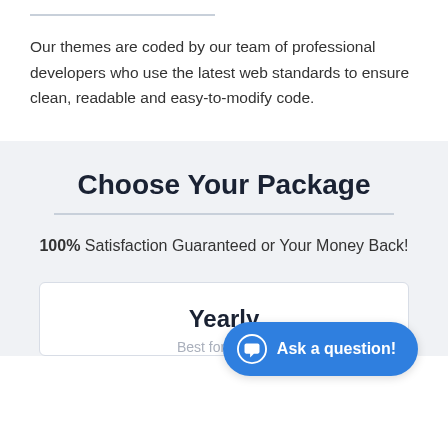Our themes are coded by our team of professional developers who use the latest web standards to ensure clean, readable and easy-to-modify code.
Choose Your Package
100% Satisfaction Guaranteed or Your Money Back!
Yearly
Best for getting